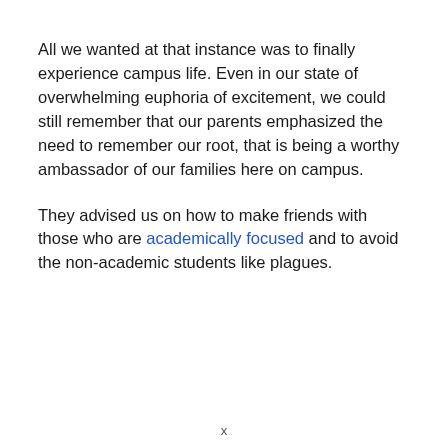All we wanted at that instance was to finally experience campus life. Even in our state of overwhelming euphoria of excitement, we could still remember that our parents emphasized the need to remember our root, that is being a worthy ambassador of our families here on campus.
They advised us on how to make friends with those who are academically focused and to avoid the non-academic students like plagues.
x